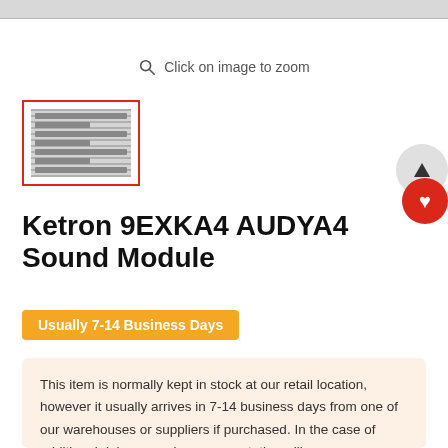[Figure (screenshot): Top grey bar representing a browser or app UI chrome element]
Click on image to zoom
[Figure (photo): Thumbnail image of the Ketron 9EXKA4 AUDYA4 Sound Module with a red border indicating it is selected]
Ketron 9EXKA4 AUDYA4 Sound Module
Usually 7-14 Business Days
This item is normally kept in stock at our retail location, however it usually arrives in 7-14 business days from one of our warehouses or suppliers if purchased. In the case of additional delays, a sales representative will